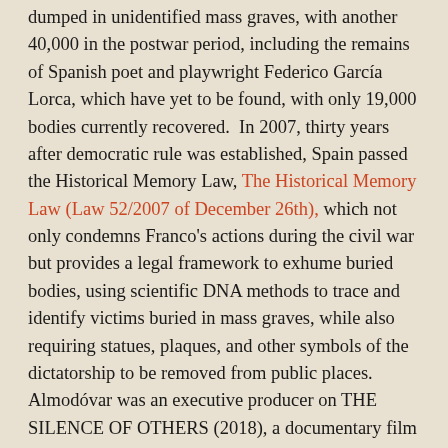dumped in unidentified mass graves, with another 40,000 in the postwar period, including the remains of Spanish poet and playwright Federico García Lorca, which have yet to be found, with only 19,000 bodies currently recovered.  In 2007, thirty years after democratic rule was established, Spain passed the Historical Memory Law, The Historical Memory Law (Law 52/2007 of December 26th), which not only condemns Franco's actions during the civil war but provides a legal framework to exhume buried bodies, using scientific DNA methods to trace and identify victims buried in mass graves, while also requiring statues, plaques, and other symbols of the dictatorship to be removed from public places.  Almodóvar was an executive producer on THE SILENCE OF OTHERS (2018), a documentary film that examines the 6-year struggle to discover the missing victims, which may have been the stimulus for making this film.  The main criticism is the structural nature, as the central story about the two women actually dominates the film, while the historical perspective, which carries much greater weight, is only added tangentially.  For instance, while Almodóvar intersperses his film with painful reminders of Spain's civil war, it's not the centerpiece, as it is in the César Díaz film about the still-existing open wounds from the 36-year Guatemalan civil war, 2019 Top Ten List #8 Our Mothers